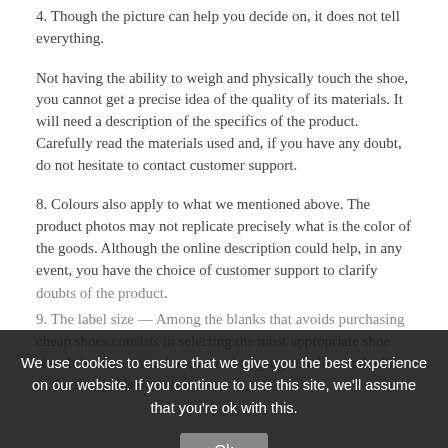4. Though the picture can help you decide on, it does not tell everything.
Not having the ability to weigh and physically touch the shoe, you cannot get a precise idea of the quality of its materials. It will need a description of the specifics of the product. Carefully read the materials used and, if you have any doubt, do not hesitate to contact customer support.
8. Colours also apply to what we mentioned above. The product photos may not replicate precisely what is the color of the goods. Although the online description could help, in any event, you have the choice of customer support to clarify doubts of the product.
9. The label size — Among the blanks that avoids purchasing cheap shoes consists in selecting the most appropriate shoe size. It is more critical to proceed to gauge the foot and adhere to the size guide that each and
We use cookies to ensure that we give you the best experience on our website. If you continue to use this site, we'll assume that you're ok with this.